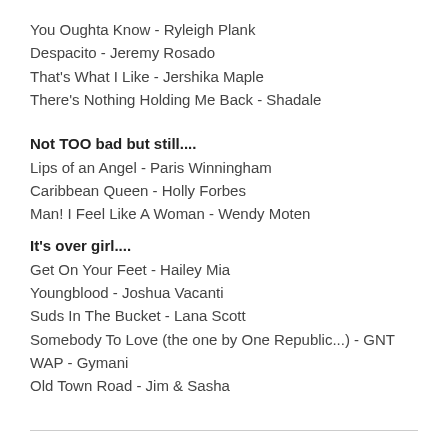You Oughta Know - Ryleigh Plank
Despacito - Jeremy Rosado
That's What I Like - Jershika Maple
There's Nothing Holding Me Back - Shadale
Not TOO bad but still....
Lips of an Angel - Paris Winningham
Caribbean Queen - Holly Forbes
Man! I Feel Like A Woman - Wendy Moten
It's over girl....
Get On Your Feet - Hailey Mia
Youngblood - Joshua Vacanti
Suds In The Bucket - Lana Scott
Somebody To Love (the one by One Republic...) - GNT
WAP - Gymani
Old Town Road - Jim & Sasha